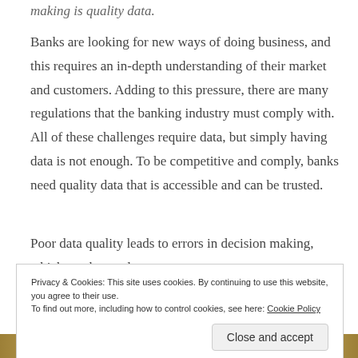making is quality data.
Banks are looking for new ways of doing business, and this requires an in-depth understanding of their market and customers. Adding to this pressure, there are many regulations that the banking industry must comply with. All of these challenges require data, but simply having data is not enough. To be competitive and comply, banks need quality data that is accessible and can be trusted.
Poor data quality leads to errors in decision making, which can be costly.
Privacy & Cookies: This site uses cookies. By continuing to use this website, you agree to their use.
To find out more, including how to control cookies, see here: Cookie Policy
Close and accept
[Figure (photo): Bottom strip showing gold coins or currency image, partially visible]